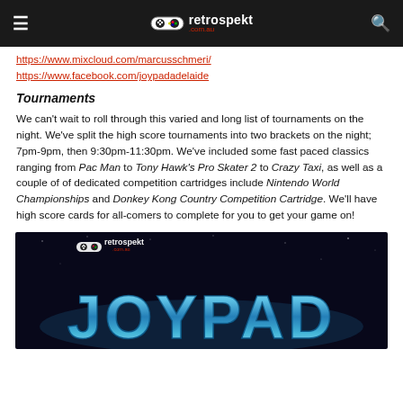retrospekt .com.au
https://www.mixcloud.com/marcusschmeri/
https://www.facebook.com/joypadadelaide
Tournaments
We can't wait to roll through this varied and long list of tournaments on the night. We've split the high score tournaments into two brackets on the night; 7pm-9pm, then 9:30pm-11:30pm. We've included some fast paced classics ranging from Pac Man to Tony Hawk's Pro Skater 2 to Crazy Taxi, as well as a couple of of dedicated competition cartridges include Nintendo World Championships and Donkey Kong Country Competition Cartridge. We'll have high score cards for all-comers to complete for you to get your game on!
[Figure (photo): Joypad event promotional image with retrospekt.com.au logo and large blue chrome 'JOYPAD' text on dark background]